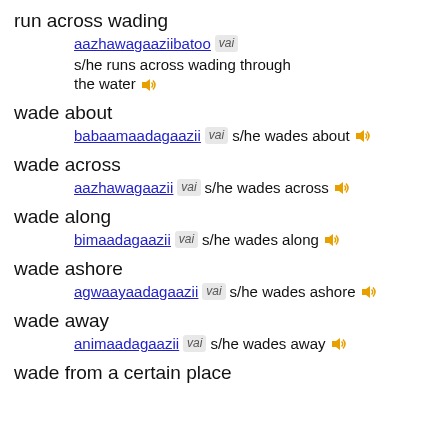run across wading
aazhawagaaziibatoo vai s/he runs across wading through the water
wade about
babaamaadagaazii vai s/he wades about
wade across
aazhawagaazii vai s/he wades across
wade along
bimaadagaazii vai s/he wades along
wade ashore
agwaayaadagaazii vai s/he wades ashore
wade away
animaadagaazii vai s/he wades away
wade from a certain place